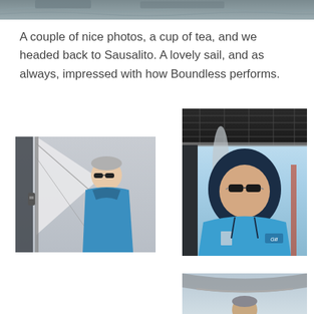[Figure (photo): Top portion of a sailing scene photo, cropped at the very top of the page, showing water and possibly a boat]
A couple of nice photos, a cup of tea, and we headed back to Sausalito. A lovely sail, and as always, impressed with how Boundless performs.
[Figure (photo): Man wearing blue sailing jacket and sunglasses on a sailboat, with sail and rigging visible in the background. Gray overcast sky.]
[Figure (photo): Man wearing blue Gill sailing jacket with hood up and sunglasses, taking a selfie on boat. Solar panels visible above, blue sky in background.]
[Figure (photo): Bottom portion of a photo showing a sailing scene, partially cropped at bottom of page.]